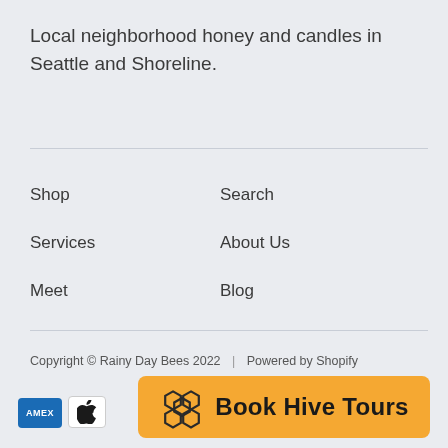Local neighborhood honey and candles in Seattle and Shoreline.
Shop
Services
Meet
Search
About Us
Blog
Copyright © Rainy Day Bees 2022  |  Powered by Shopify
[Figure (other): Orange button with honeycomb icon and text 'Book Hive Tours']